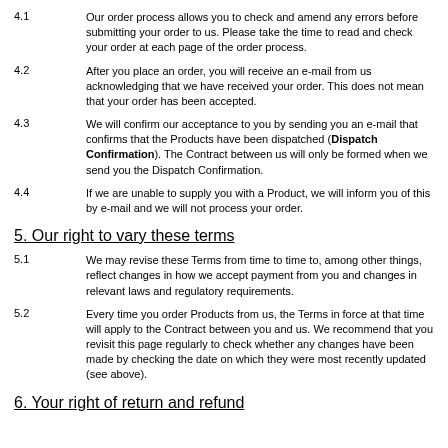4.1 Our order process allows you to check and amend any errors before submitting your order to us. Please take the time to read and check your order at each page of the order process.
4.2 After you place an order, you will receive an e-mail from us acknowledging that we have received your order. This does not mean that your order has been accepted.
4.3 We will confirm our acceptance to you by sending you an e-mail that confirms that the Products have been dispatched (Dispatch Confirmation). The Contract between us will only be formed when we send you the Dispatch Confirmation.
4.4 If we are unable to supply you with a Product, we will inform you of this by e-mail and we will not process your order.
5. Our right to vary these terms
5.1 We may revise these Terms from time to time to, among other things, reflect changes in how we accept payment from you and changes in relevant laws and regulatory requirements.
5.2 Every time you order Products from us, the Terms in force at that time will apply to the Contract between you and us. We recommend that you revisit this page regularly to check whether any changes have been made by checking the date on which they were most recently updated (see above).
6. Your right of return and refund